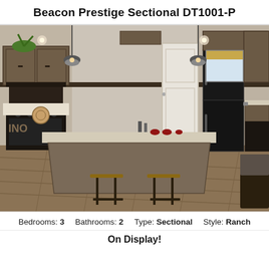Beacon Prestige Sectional DT1001-P
[Figure (photo): Interior photo of a kitchen in the Beacon Prestige Sectional DT1001-P model home. Shows dark wood cabinets, a large kitchen island with bar stools, pendant lights, black appliances including a refrigerator and stove, hardwood flooring, and a window with a gold valance.]
Bedrooms: 3    Bathrooms: 2    Type: Sectional    Style: Ranch
On Display!